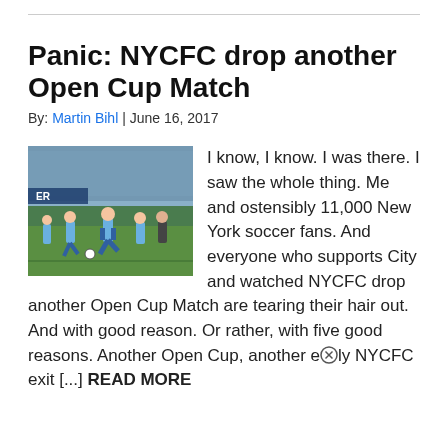Panic: NYCFC drop another Open Cup Match
By: Martin Bihl | June 16, 2017
[Figure (photo): Soccer match photo showing NYCFC players in light blue uniforms on a field during a game]
I know, I know. I was there. I saw the whole thing. Me and ostensibly 11,000 New York soccer fans. And everyone who supports City and watched NYCFC drop another Open Cup Match are tearing their hair out. And with good reason. Or rather, with five good reasons. Another Open Cup, another early NYCFC exit [...] READ MORE